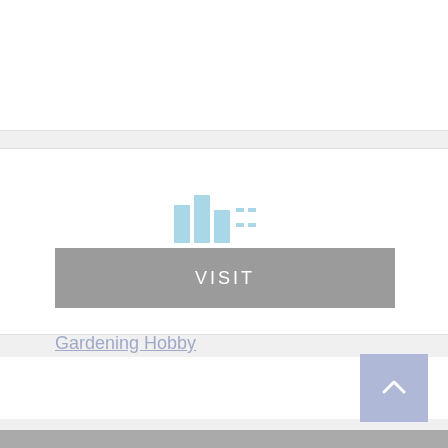[Figure (screenshot): Top white content block, blank/empty area of a webpage]
[Figure (screenshot): Middle white content block with broken image icon, signal strength bar chart icon, VISIT button, and Gardening Hobby link]
Gardening Hobby
Footer gray bar with back-to-top button